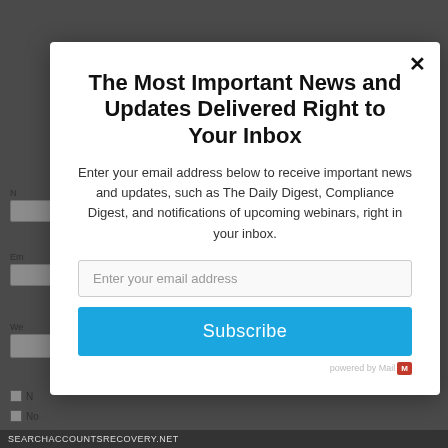[Figure (screenshot): A modal popup dialog over a dimmed website background. The modal contains a newsletter subscription form with a title, descriptive text, email input field, and Subscribe button. The background shows a partially visible web form with checkboxes and a Post button. A footer bar reads 'SEARCHACCOUNTSRECOVERY.NET'.]
The Most Important News and Updates Delivered Right to Your Inbox
Enter your email address below to receive important news and updates, such as The Daily Digest, Compliance Digest, and notifications of upcoming webinars, right in your inbox.
Enter your email address
Subscribe
SEARCHACCOUNTSRECOVERY.NET